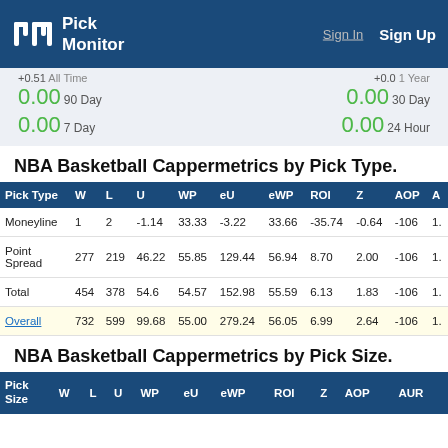Pick Monitor | Sign In | Sign Up
0.00 90 Day   0.00 30 Day   0.00 7 Day   0.00 24 Hour
NBA Basketball Cappermetrics by Pick Type.
| Pick Type | W | L | U | WP | eU | eWP | ROI | Z | AOP | A |
| --- | --- | --- | --- | --- | --- | --- | --- | --- | --- | --- |
| Moneyline | 1 | 2 | -1.14 | 33.33 | -3.22 | 33.66 | -35.74 | -0.64 | -106 | 1. |
| Point Spread | 277 | 219 | 46.22 | 55.85 | 129.44 | 56.94 | 8.70 | 2.00 | -106 | 1. |
| Total | 454 | 378 | 54.6 | 54.57 | 152.98 | 55.59 | 6.13 | 1.83 | -106 | 1. |
| Overall | 732 | 599 | 99.68 | 55.00 | 279.24 | 56.05 | 6.99 | 2.64 | -106 | 1. |
NBA Basketball Cappermetrics by Pick Size.
| Pick Size | W | L | U | WP | eU | eWP | ROI | Z | AOP | AUR |
| --- | --- | --- | --- | --- | --- | --- | --- | --- | --- | --- |